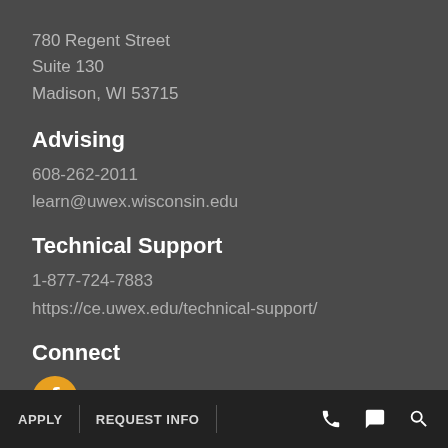780 Regent Street
Suite 130
Madison, WI 53715
Advising
608-262-2011
learn@uwex.wisconsin.edu
Technical Support
1-877-724-7883
https://ce.uwex.edu/technical-support/
Connect
facebook
APPLY | REQUEST INFO